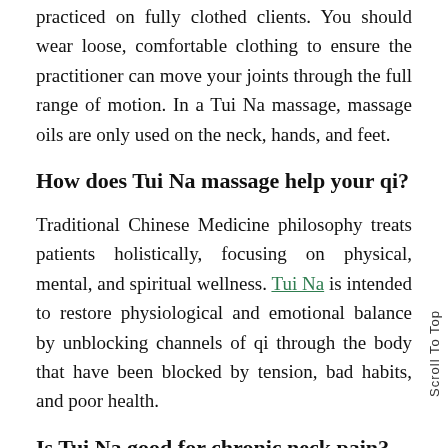practiced on fully clothed clients. You should wear loose, comfortable clothing to ensure the practitioner can move your joints through the full range of motion. In a Tui Na massage, massage oils are only used on the neck, hands, and feet.
How does Tui Na massage help your qi?
Traditional Chinese Medicine philosophy treats patients holistically, focusing on physical, mental, and spiritual wellness. Tui Na is intended to restore physiological and emotional balance by unblocking channels of qi through the body that have been blocked by tension, bad habits, and poor health.
Is Tui Na good for chronic neck pain?
One study shows that Tui Na massage is a welcome relief for those with chronic neck pain. Study